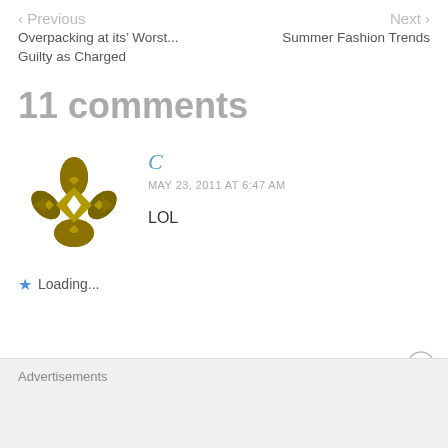< Previous | Next >
Overpacking at its’ Worst... Guilty as Charged
Summer Fashion Trends
11 comments
[Figure (illustration): Golden/olive decorative snowflake-like avatar icon]
C
MAY 23, 2011 AT 6:47 AM
LOL
★ Loading...
Advertisements